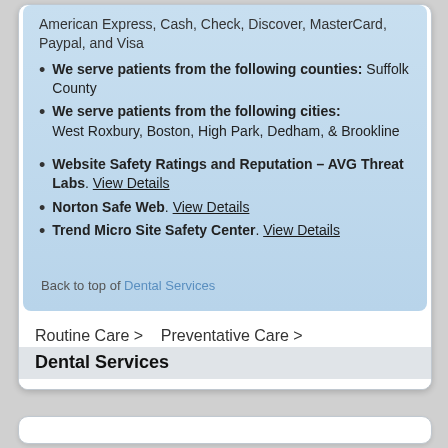American Express, Cash, Check, Discover, MasterCard, Paypal, and Visa
We serve patients from the following counties: Suffolk County
We serve patients from the following cities: West Roxbury, Boston, High Park, Dedham, & Brookline
Website Safety Ratings and Reputation – AVG Threat Labs. View Details
Norton Safe Web. View Details
Trend Micro Site Safety Center. View Details
Back to top of Dental Services
Routine Care > Preventative Care >
Dental Services